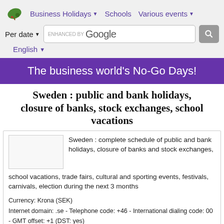Business Holidays | Schools | Various events | Per date | English
The business world's No-Go Days!
Sweden : public and bank holidays, closure of banks, stock exchanges, school vacations
Sweden : complete schedule of public and bank holidays, closure of banks and stock exchanges, school vacations, trade fairs, cultural and sporting events, festivals, carnivals, election during the next 3 months
Currency: Krona (SEK)
Internet domain: .se - Telephone code: +46 - International dialing code: 00 - GMT offset: +1 (DST: yes)
Weekend: Saturday & Sunday